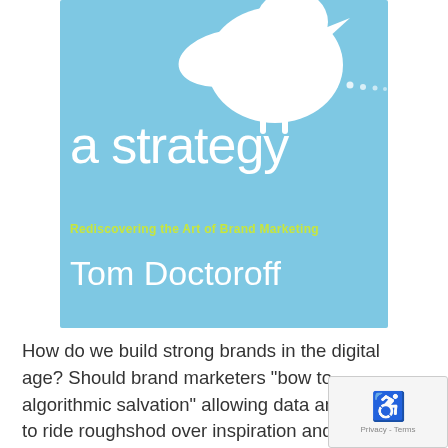[Figure (illustration): Book cover with light blue background. Partial white bird illustration at the top, large white italic text 'a strategy', yellow-green subtitle 'Rediscovering the Art of Brand Marketing', and white author name 'Tom Doctoroff'.]
How do we build strong brands in the digital age? Should brand marketers "bow to algorithmic salvation" allowing data and process to ride roughshod over inspiration and creativity?